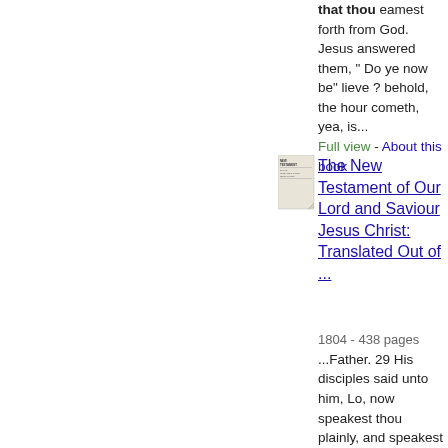that thou eamest forth from God. Jesus answered them, " Do ye now be" lieve ? behold, the hour cometh, yea, is... Full view - About this book
[Figure (photo): Thumbnail image of the book cover for The New Testament of Our Lord and Saviour Jesus Christ]
The New Testament of Our Lord and Saviour Jesus Christ: Translated Out of ...
1804 - 438 pages ...Father. 29 His disciples said unto him, Lo, now speakest thou plainly, and speakest no proverb. 30 Now are we sure that thou knowest all